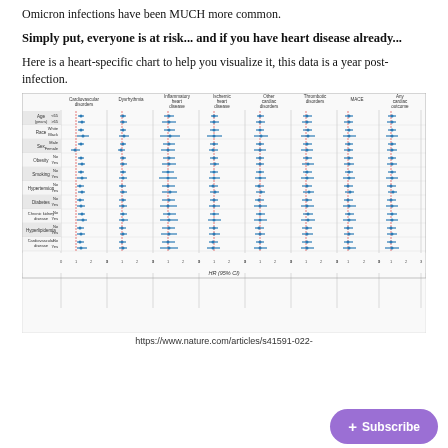Omicron infections have been MUCH more common.
Simply put, everyone is at risk... and if you have heart disease already...
Here is a heart-specific chart to help you visualize it, this data is a year post-infection.
[Figure (other): Forest plot showing hazard ratios (HR, 95% CI) for various cardiovascular outcomes (Cardiovascular disorders, Dysrhythmia, Inflammatory heart disease, Ischemic heart disease, Other cardiac disorders, Thrombotic disorders, MACE, Any cardiac outcome) stratified by demographic and clinical subgroups (Age, Race, Sex, Obesity, Smoking, Hypertension, Diabetes, Chronic kidney disease, Hyperlipidemia, Cardiovascular disease). X-axis labeled HR (95% CI) with ticks at 0, 1, 2, 3.]
https://www.nature.com/articles/s41591-022-